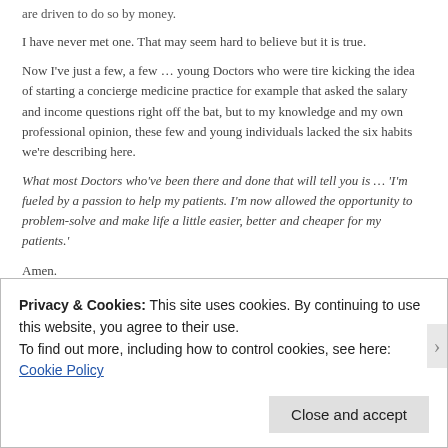are driven to do so by money.
I have never met one. That may seem hard to believe but it is true.
Now I've just a few, a few … young Doctors who were tire kicking the idea of starting a concierge medicine practice for example that asked the salary and income questions right off the bat, but to my knowledge and my own professional opinion, these few and young individuals lacked the six habits we're describing here.
What most Doctors who've been there and done that will tell you is … 'I'm fueled by a passion to help my patients. I'm now allowed the opportunity to problem-solve and make life a little easier, better and cheaper for my patients.'
Amen.
"If you possess excellent communication skills, around the clock dedication and the desire to promote optimal health in pursuit of excellent medicine, then concierge medicine is for you. It's the best career choice I've ever made." ~Dr.T,
Privacy & Cookies: This site uses cookies. By continuing to use this website, you agree to their use.
To find out more, including how to control cookies, see here: Cookie Policy
Close and accept